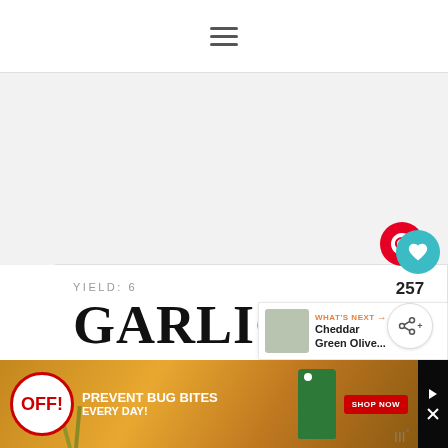≡ (hamburger menu)
[Figure (screenshot): Gray advertisement banner area with Wistia logo watermark in bottom right]
GARLIC OLIVE CHEESE BREAD
YIELD: 6
[Figure (infographic): WHAT'S NEXT → Cheddar Green Olive... sidebar card with food thumbnail]
[Figure (photo): OFF! advertisement banner: PREVENT BUG BITES EVERY DAY! with SHOP NOW button]